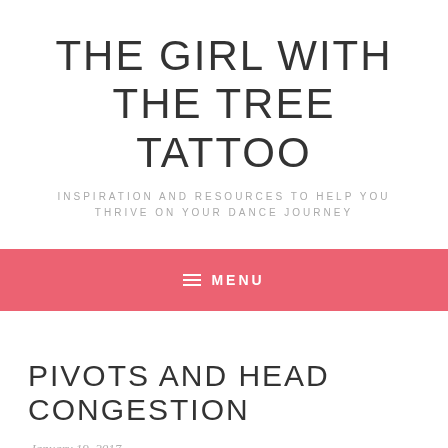THE GIRL WITH THE TREE TATTOO
INSPIRATION AND RESOURCES TO HELP YOU THRIVE ON YOUR DANCE JOURNEY
≡ MENU
PIVOTS AND HEAD CONGESTION
January 19, 2017